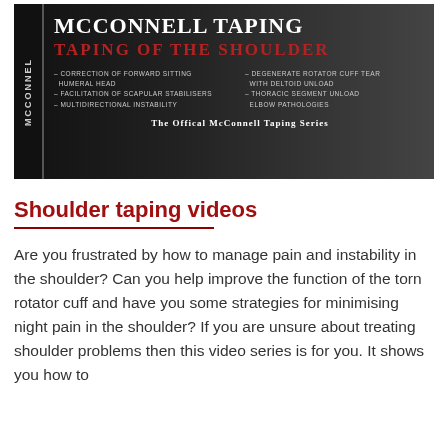[Figure (photo): McConnell Taping – Taping of the Shoulder promotional banner. Black background with sidebar text reading 'McConnell'. Main title: 'McConnell Taping', subtitle in red: 'Taping of the Shoulder'. Two columns of bullet points listing topics: Correction of forward sitting humeral head, Facilitation of scapular stabilisers, Multidirectional instability, Degenerate rotator cuff tear with deltoid unload, Thoracic segment unload, Elbow pathologies. Footer: 'The Official McConnell Taping Series'.]
Shoulder taping videos
Are you frustrated by how to manage pain and instability in the shoulder? Can you help improve the function of the torn rotator cuff and have you some strategies for minimising night pain in the shoulder? If you are unsure about treating shoulder problems then this video series is for you. It shows you how to improve shoulder positioning and...